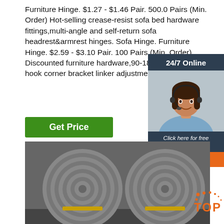Furniture Hinge. $1.27 - $1.46 Pair. 500.0 Pairs (Min. Order) Hot-selling crease-resist sofa bed hardware fittings,multi-angle and self-return sofa headrest&armrest hinges. Sofa Hinge. Furniture Hinge. $2.59 - $3.10 Pair. 100 Pairs (Min. Order) Discounted furniture hardware,90-180 degree screw hook corner bracket linker adjustment hinge.
[Figure (other): Green 'Get Price' button]
[Figure (other): Sidebar widget with '24/7 Online' header, customer service representative photo with headset, 'Click here for free chat!' text, and orange QUOTATION button]
[Figure (photo): Photo of large metal steel coils/rolls, industrial raw material]
[Figure (other): Orange TOP badge in bottom-right corner]